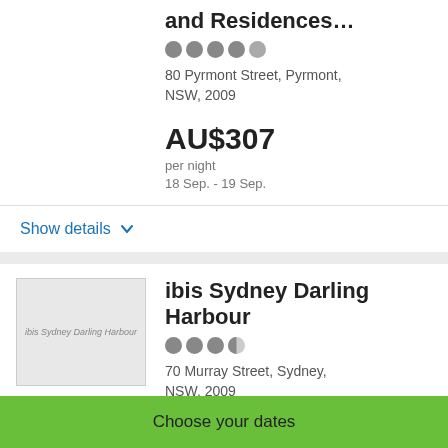Residences Sydney
and Residences…
80 Pyrmont Street, Pyrmont, NSW, 2009
AU$307
per night
18 Sep. - 19 Sep.
Show details
[Figure (photo): ibis Sydney Darling Harbour hotel image placeholder]
ibis Sydney Darling Harbour
70 Murray Street, Sydney, NSW, 2009
AU$229
per night
Choose your dates